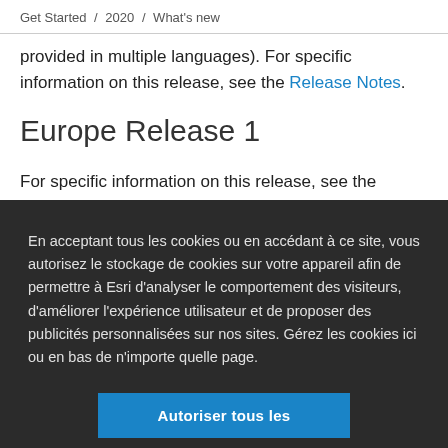Get Started / 2020 / What's new
provided in multiple languages). For specific information on this release, see the Release Notes.
Europe Release 1
For specific information on this release, see the Release Notes.
En acceptant tous les cookies ou en accédant à ce site, vous autorisez le stockage de cookies sur votre appareil afin de permettre à Esri d'analyser le comportement des visiteurs, d'améliorer l'expérience utilisateur et de proposer des publicités personnalisées sur nos sites. Gérez les cookies ici ou en bas de n'importe quelle page.
Autoriser tous les